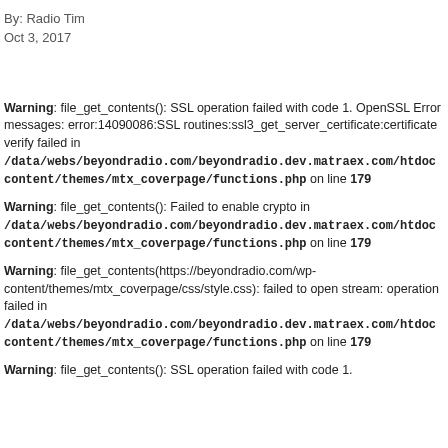By: Radio Tim
Oct 3, 2017
Warning: file_get_contents(): SSL operation failed with code 1. OpenSSL Error messages: error:14090086:SSL routines:ssl3_get_server_certificate:certificate verify failed in /data/webs/beyondradio.com/beyondradio.dev.matraex.com/htdocs/wp-content/themes/mtx_coverpage/functions.php on line 179
Warning: file_get_contents(): Failed to enable crypto in /data/webs/beyondradio.com/beyondradio.dev.matraex.com/htdocs/wp-content/themes/mtx_coverpage/functions.php on line 179
Warning: file_get_contents(https://beyondradio.com/wp-content/themes/mtx_coverpage/css/style.css): failed to open stream: operation failed in /data/webs/beyondradio.com/beyondradio.dev.matraex.com/htdocs/wp-content/themes/mtx_coverpage/functions.php on line 179
Warning: file_get_contents(): SSL operation failed with code 1.